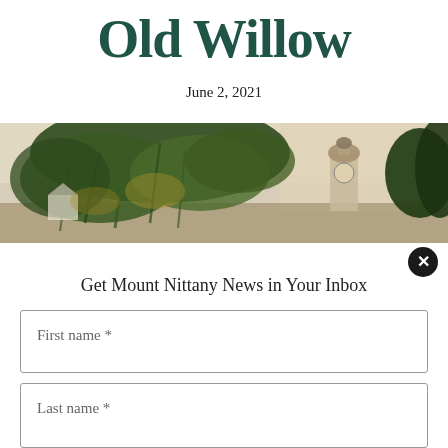Old Willow
June 2, 2021
[Figure (photo): Vintage postcard-style photograph showing large willow and other trees with a domed clock tower building visible in the background, with a pale sky]
Get Mount Nittany News in Your Inbox
First name *
Last name *